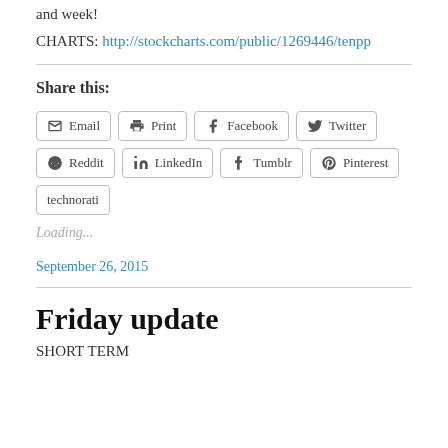and week!
CHARTS: http://stockcharts.com/public/1269446/tenpp
Share this:
Email  Print  Facebook  Twitter  Reddit  LinkedIn  Tumblr  Pinterest  technorati
Loading...
September 26, 2015
Friday update
SHORT TERM                         DOW +112